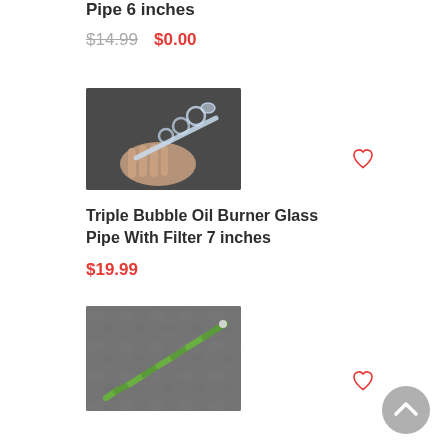Pipe 6 inches
$14.99  $0.00
[Figure (photo): A hand holding a clear glass triple-bubble oil burner pipe against a dark background]
Triple Bubble Oil Burner Glass Pipe With Filter 7 inches
$19.99
[Figure (photo): A green spiral glass pipe lying on a grey stone surface]